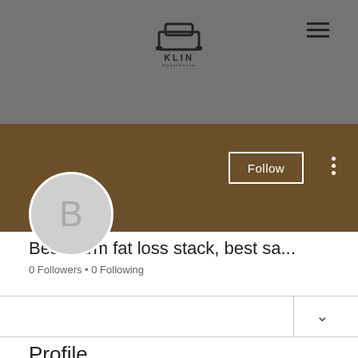[Figure (logo): KLIN Guesthouse logo with car/roof icon on gray header band]
[Figure (screenshot): Hamburger menu icon (three horizontal lines) on gray header]
[Figure (photo): Brown banner/cover photo background]
[Figure (photo): Light gray circle avatar with letter B]
Follow
Best sarm fat loss stack, best sa...
0 Followers • 0 Following
Profile